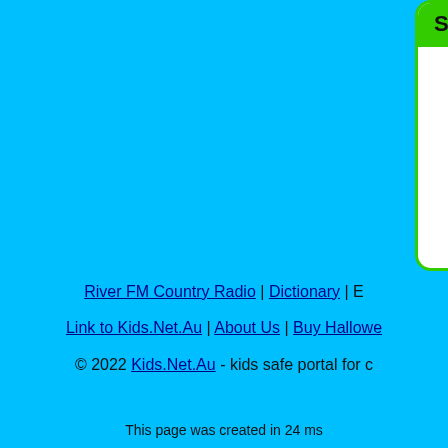Search Encyclopedia
Search over one million articles, find something about almost anything!
[search input field]
Search [button]
River FM Country Radio | Dictionary | E...
Link to Kids.Net.Au | About Us | Buy Hallowe...
© 2022 Kids.Net.Au - kids safe portal for c...
This page was created in 24 ms